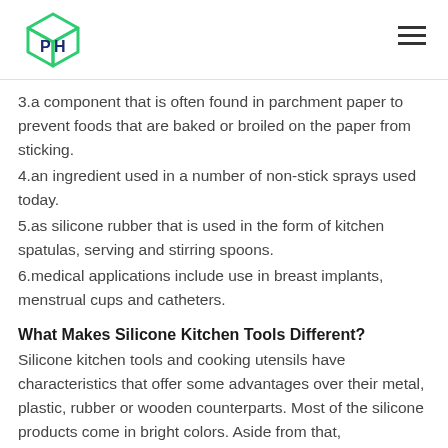[Logo: PH cube icon] [Hamburger menu]
3.a component that is often found in parchment paper to prevent foods that are baked or broiled on the paper from sticking.
4.an ingredient used in a number of non-stick sprays used today.
5.as silicone rubber that is used in the form of kitchen spatulas, serving and stirring spoons.
6.medical applications include use in breast implants, menstrual cups and catheters.
What Makes Silicone Kitchen Tools Different?
Silicone kitchen tools and cooking utensils have characteristics that offer some advantages over their metal, plastic, rubber or wooden counterparts. Most of the silicone products come in bright colors. Aside from that,